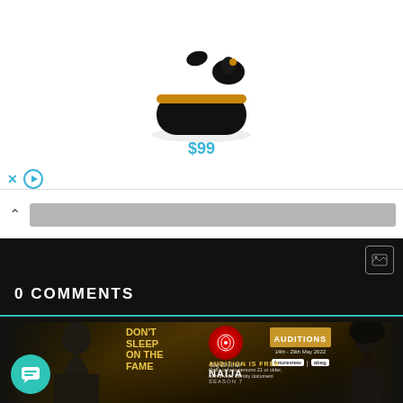[Figure (photo): Advertisement banner showing wireless earbuds product with price $99]
x
[Figure (screenshot): Web page UI showing collapse arrow and grey search/nav bar]
0 COMMENTS
[Figure (screenshot): Comments section with teal separator line, lightning bolt and fire reaction icons, orange underline]
[Figure (photo): Big Brother Naija Season 7 advertisement - DON'T SLEEP ON THE FAME - AUDITIONS text with two people facing each other]